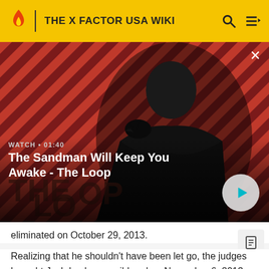THE X FACTOR USA WIKI
[Figure (screenshot): Video thumbnail showing a dark-clad figure with a raven on their shoulder against a red and black diagonal striped background. Shows 'The Loop' branding. Overlay shows WATCH · 01:40 and title 'The Sandman Will Keep You Awake - The Loop' with a play button.]
eliminated on October 29, 2013.
Realizing that he shouldn't have been let go, the judges brought Josh back as a wildcard on November 6, 2013. He went on to sing the Jackson 5 classic "Who's Loving You"